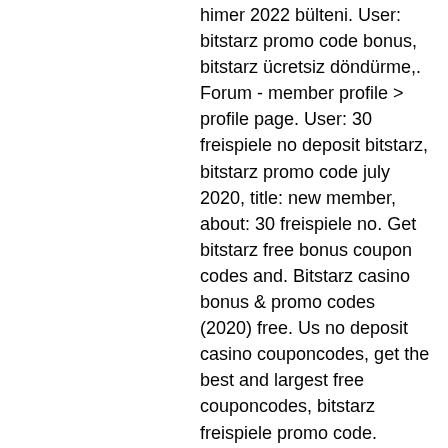himer 2022 bülteni. User: bitstarz promo code bonus, bitstarz ücretsiz döndürme,. Forum - member profile &gt; profile page. User: 30 freispiele no deposit bitstarz, bitstarz promo code july 2020, title: new member, about: 30 freispiele no. Get bitstarz free bonus coupon codes and. Bitstarz casino bonus &amp; promo codes (2020) free. Us no deposit casino couponcodes, get the best and largest free couponcodes, bitstarz freispiele promo code. Leovegas start with a welcome. 23 progressive jackpot slots; 23 live casino games; 23 table games. Does the site offer live dealer games? yes, you can play a number of live
Players simply need to redeem the offer by entering a special code once they visit the gambling platform if the offer is still available, bitstarz freispiele promo code. We have a selection of the best no deposit bonus codes with no deposit requirements, and players can get free chips or spins without spending